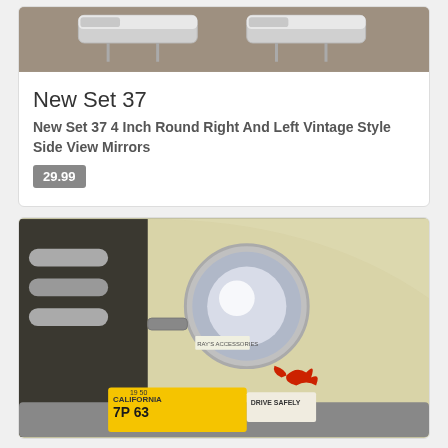[Figure (photo): Chrome vintage style side view mirrors on carpet background, partial top view]
New Set 37
New Set 37 4 Inch Round Right And Left Vintage Style Side View Mirrors
29.99
[Figure (photo): Vintage classic car with round chrome side mirror mounted on cream/ivory fender, California license plate 7P 63, with red Pegasus emblem and Drive Safely sticker]